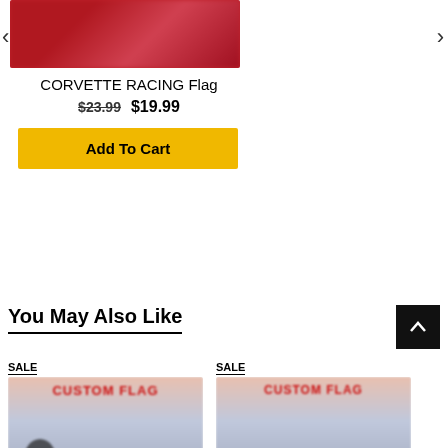[Figure (photo): Blurred red product image - Corvette Racing Flag left card]
CORVETTE RACING Flag
$23.99  $19.99
Add To Cart
[Figure (photo): Black background product image with Custom Flag text - right card]
CORVETTE RACING Flag
$23.99  $19.99
Add To Cart
You May Also Like
SALE
[Figure (photo): Blurred product image with red and blue custom flag design, left card]
SALE
[Figure (photo): Blurred product image with red and blue custom flag design, right card]
Custom Flag 10 pcs - Save